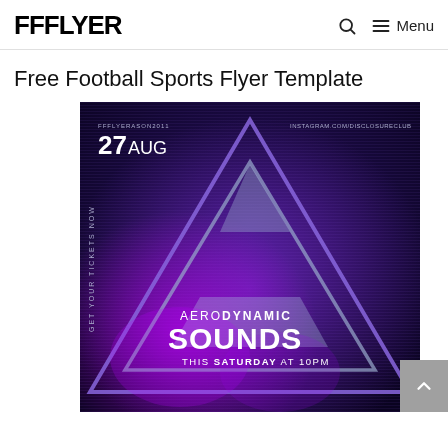FFFLYER  🔍  ≡ Menu
Free Football Sports Flyer Template
[Figure (illustration): A dark purple/navy event flyer featuring a large glowing geometric triangle shape with neon purple and magenta accents. Text reads: '27 AUG', 'AERODYNAMIC SOUNDS', 'THIS SATURDAY AT 10PM'. Small text includes 'FFFLYERASON2011' and 'INSTAGRAM.COM/DISCLOSURECLUB'. Vertical text on left reads 'GET YOUR TICKETS NOW'.]